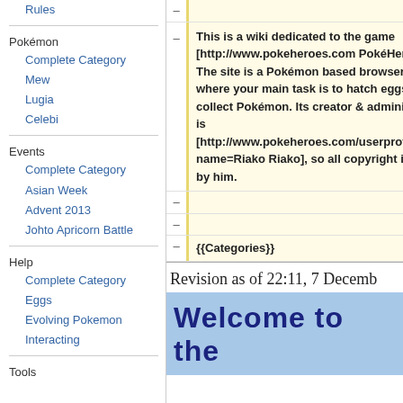Rules
Pokémon
Complete Category
Mew
Lugia
Celebi
Events
Complete Category
Asian Week
Advent 2013
Johto Apricorn Battle
Help
Complete Category
Eggs
Evolving Pokemon
Interacting
Tools
This is a wiki dedicated to the game [http://www.pokeheroes.com PokéHeroes]!  The site is a Pokémon based browsergame where your main task is to hatch eggs and collect Pokémon. Its creator & administrator is [http://www.pokeheroes.com/userprofile.php?name=Riako Riako], so all copyright is owned by him.
{{Categories}}
Revision as of 22:11, 7 Decemb
Welcome to the